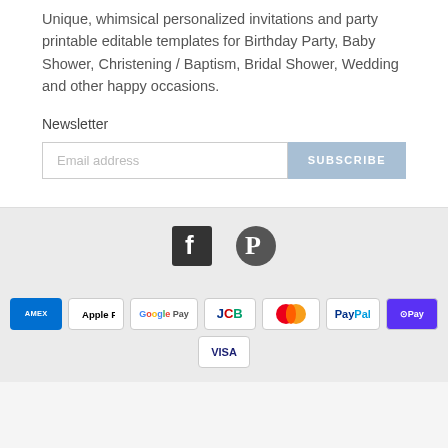Unique, whimsical personalized invitations and party printable editable templates for Birthday Party, Baby Shower, Christening / Baptism, Bridal Shower, Wedding and other happy occasions.
Newsletter
[Figure (other): Email address input field with SUBSCRIBE button]
[Figure (other): Social media icons: Facebook and Pinterest]
[Figure (other): Payment method logos: American Express, Apple Pay, Google Pay, JCB, Mastercard, PayPal, Shop Pay, Visa]